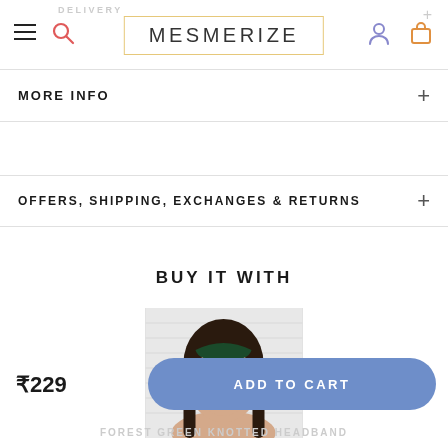DELIVERY | ≡ 🔍 | MESMERIZE | (user icon) (bag icon) | +
MORE INFO +
OFFERS, SHIPPING, EXCHANGES & RETURNS +
BUY IT WITH
[Figure (photo): A smiling young woman wearing a dark forest green padded headband, with long hair, photographed in front of a light background.]
₹229
ADD TO CART
FOREST GREEN KNOTTED HEADBAND